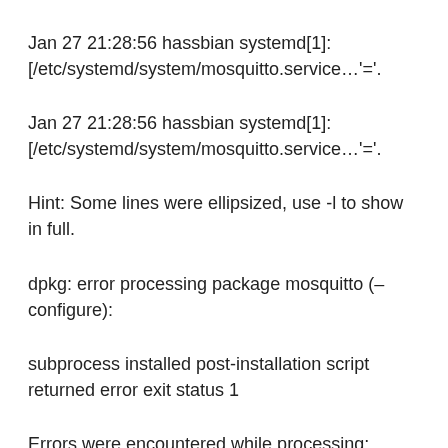Jan 27 21:28:56 hassbian systemd[1]: [/etc/systemd/system/mosquitto.service…'='.
Jan 27 21:28:56 hassbian systemd[1]: [/etc/systemd/system/mosquitto.service…'='.
Hint: Some lines were ellipsized, use -l to show in full.
dpkg: error processing package mosquitto (–configure):
subprocess installed post-installation script returned error exit status 1
Errors were encountered while processing: